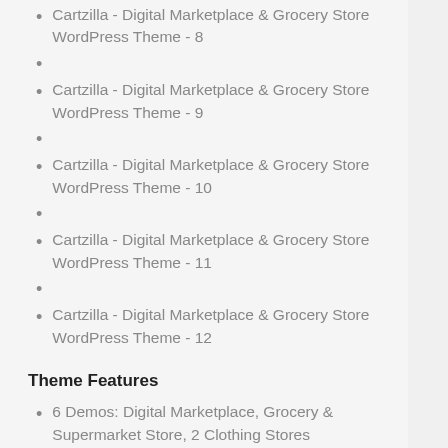Cartzilla - Digital Marketplace & Grocery Store WordPress Theme - 8
Cartzilla - Digital Marketplace & Grocery Store WordPress Theme - 9
Cartzilla - Digital Marketplace & Grocery Store WordPress Theme - 10
Cartzilla - Digital Marketplace & Grocery Store WordPress Theme - 11
Cartzilla - Digital Marketplace & Grocery Store WordPress Theme - 12
Theme Features
6 Demos: Digital Marketplace, Grocery & Supermarket Store, 2 Clothing Stores